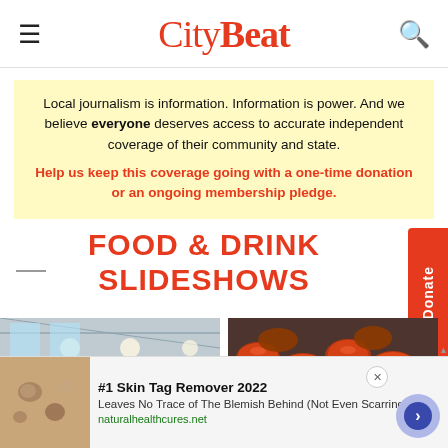CityBeat
Local journalism is information. Information is power. And we believe everyone deserves access to accurate independent coverage of their community and state. Help us keep this coverage going with a one-time donation or an ongoing membership pledge.
FOOD & DRINK SLIDESHOWS
[Figure (photo): Two thumbnail photos side by side: left shows a restaurant interior, right shows glazed chicken wings on a tray]
[Figure (infographic): Advertisement banner: #1 Skin Tag Remover 2022 - Leaves No Trace of The Blemish Behind (Not Even Scarring) - naturalhealthcures.net]